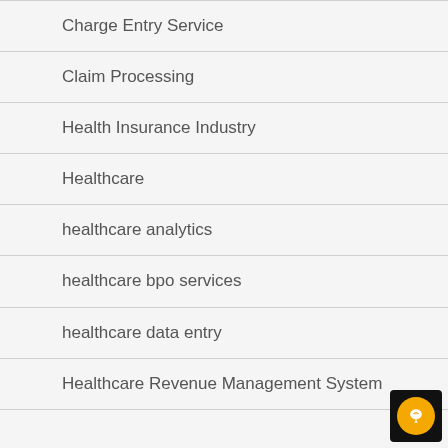Charge Entry Service
Claim Processing
Health Insurance Industry
Healthcare
healthcare analytics
healthcare bpo services
healthcare data entry
Healthcare Revenue Management System